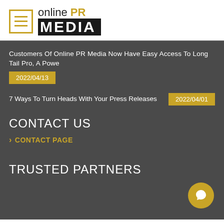[Figure (logo): Online PR Media logo with hamburger menu icon, text 'online PR MEDIA']
Customers Of Online PR Media Now Have Easy Access To Long Tail Pro, A Powe
2022/04/13
7 Ways To Turn Heads With Your Press Releases
2022/04/01
CONTACT US
CONTACT PAGE
TRUSTED PARTNERS